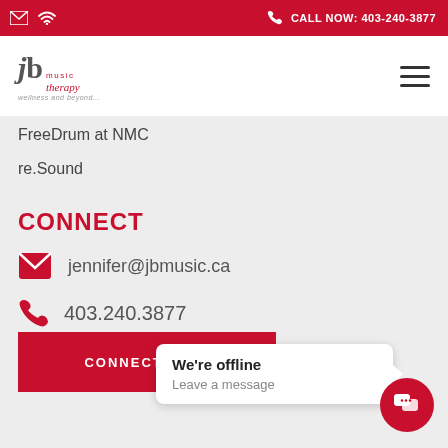CALL NOW: 403-240-3877
[Figure (logo): JB Music Therapy logo with red script text]
FreeDrum at NMC
re.Sound
CONNECT
jennifer@jbmusic.ca
403.240.3877
CONNECT WITH
We're offline
Leave a message